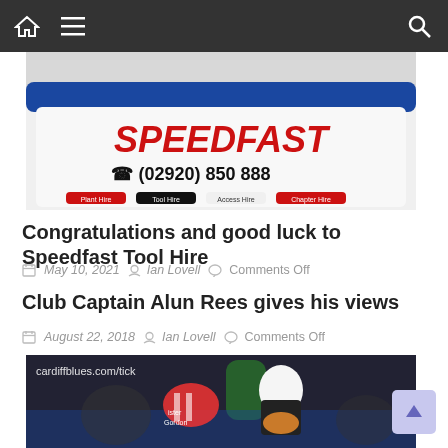Navigation bar with home, menu, and search icons
[Figure (photo): Speedfast Tool Hire counter/display with red bold text 'SPEEDFAST' and phone number '(02920) 850 888', blue trim on white surface]
Congratulations and good luck to Speedfast Tool Hire
May 10, 2021  Ian Lovell  Comments Off
Club Captain Alun Rees gives his views
August 22, 2018  Ian Lovell  Comments Off
[Figure (photo): Rugby match photo with Cardiff Blues branding, player in black/white carrying ball, tackled by player in red/white striped jersey]